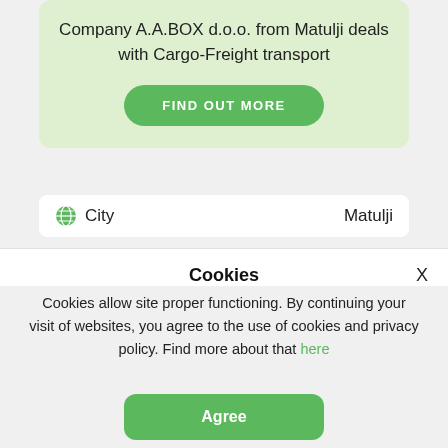Company A.A.BOX d.o.o. from Matulji deals with Cargo-Freight transport
FIND OUT MORE
City   Matulji
Cookies
Cookies allow site proper functioning. By continuing your visit of websites, you agree to the use of cookies and privacy policy. Find more about that here
Agree